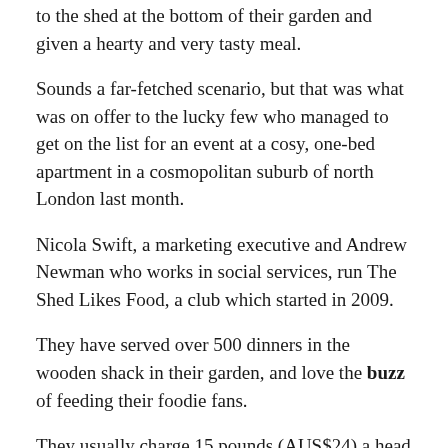to the shed at the bottom of their garden and given a hearty and very tasty meal.
Sounds a far-fetched scenario, but that was what was on offer to the lucky few who managed to get on the list for an event at a cosy, one-bed apartment in a cosmopolitan suburb of north London last month.
Nicola Swift, a marketing executive and Andrew Newman who works in social services, run The Shed Likes Food, a club which started in 2009.
They have served over 500 dinners in the wooden shack in their garden, and love the buzz of feeding their foodie fans.
They usually charge 15 pounds (AUS$24) a head to cover costs, but their recent Pie Party was a new departure for the couple who both come from Scunthorpe in the north of England.
Scunthorpe in the north of England.